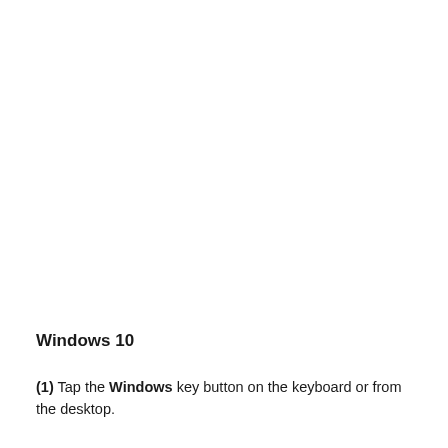Windows 10
(1) Tap the Windows key button on the keyboard or from the desktop.